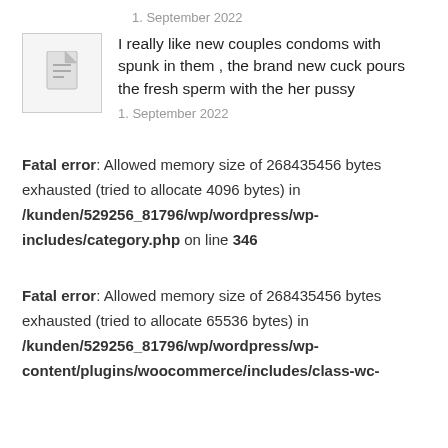1. September 2022
I really like new couples condoms with spunk in them , the brand new cuck pours the fresh sperm with the her pussy
1. September 2022
Fatal error: Allowed memory size of 268435456 bytes exhausted (tried to allocate 4096 bytes) in /kunden/529256_81796/wp/wordpress/wp-includes/category.php on line 346
Fatal error: Allowed memory size of 268435456 bytes exhausted (tried to allocate 65536 bytes) in /kunden/529256_81796/wp/wordpress/wp-content/plugins/woocommerce/includes/class-wc-